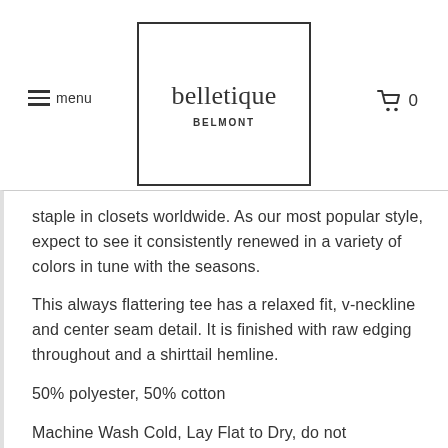belletique BELMONT — menu navigation and cart
staple in closets worldwide. As our most popular style, expect to see it consistently renewed in a variety of colors in tune with the seasons.
This always flattering tee has a relaxed fit, v-neckline and center seam detail. It is finished with raw edging throughout and a shirttail hemline.
50% polyester, 50% cotton
Machine Wash Cold, Lay Flat to Dry, do not